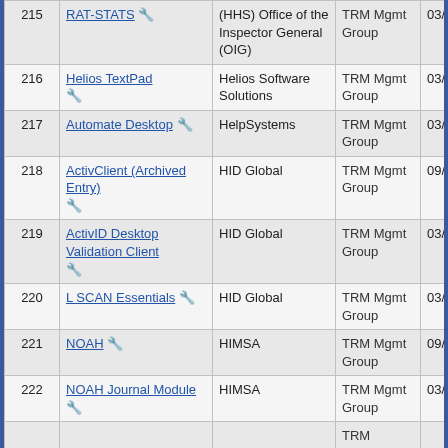| # | Name | Vendor | Group | Date | Status |
| --- | --- | --- | --- | --- | --- |
| 215 | RAT-STATS 🔧 | (HHS) Office of the Inspector General (OIG) | TRM Mgmt Group | 03/29/2012 | New |
| 216 | Helios TextPad 🔧 | Helios Software Solutions | TRM Mgmt Group | 03/29/2012 | New |
| 217 | Automate Desktop 🔧 | HelpSystems | TRM Mgmt Group | 03/29/2012 | New |
| 218 | ActivClient (Archived Entry) 🔧 | HID Global | TRM Mgmt Group | 09/29/2011 | New |
| 219 | ActivID Desktop Validation Client 🔧 | HID Global | TRM Mgmt Group | 03/29/2012 | New |
| 220 | L SCAN Essentials 🔧 | HID Global | TRM Mgmt Group | 03/29/2012 | New |
| 221 | NOAH 🔧 | HIMSA | TRM Mgmt Group | 09/29/2011 | New |
| 222 | NOAH Journal Module 🔧 | HIMSA | TRM Mgmt Group | 03/29/2012 | New |
| 223 | ... |  | TRM |  |  |